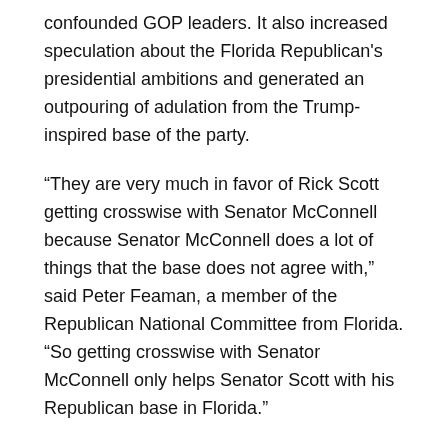confounded GOP leaders. It also increased speculation about the Florida Republican's presidential ambitions and generated an outpouring of adulation from the Trump-inspired base of the party.
“They are very much in favor of Rick Scott getting crosswise with Senator McConnell because Senator McConnell does a lot of things that the base does not agree with,” said Peter Feaman, a member of the Republican National Committee from Florida. “So getting crosswise with Senator McConnell only helps Senator Scott with his Republican base in Florida.”
Indeed, the deep level of respect the grizzled, battle-tested GOP leader from Kentucky maintains inside the halls of Congress contrasts sharply with the deep disdain directed at him by former President Donald Trump, his die-hard supporters and his political acolytes running in races across